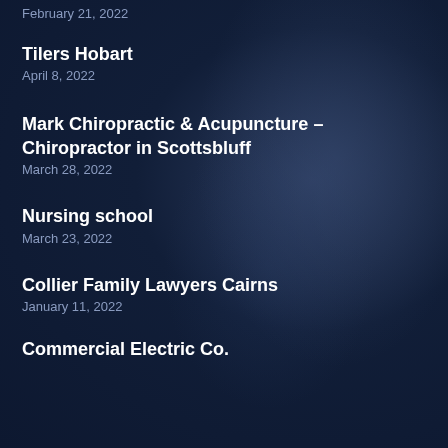February 21, 2022
Tilers Hobart
April 8, 2022
Mark Chiropractic & Acupuncture – Chiropractor in Scottsbluff
March 28, 2022
Nursing school
March 23, 2022
Collier Family Lawyers Cairns
January 11, 2022
Commercial Electric Co.